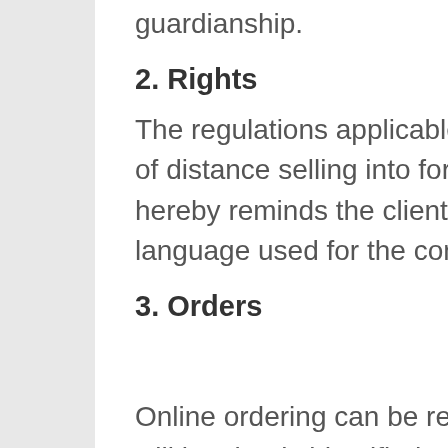guardianship.
2. Rights
The regulations applicable to the proposed sale is that of distance selling into force in France to date, the Seller hereby reminds the client, the leading terms. The language used for the contract is the French language.
3. Orders
Online ordering can be registered only when the user will be clearly identified.
Any online order implies acceptance of the prices and descriptions of products available for sale.
The Company undertakes to fulfill